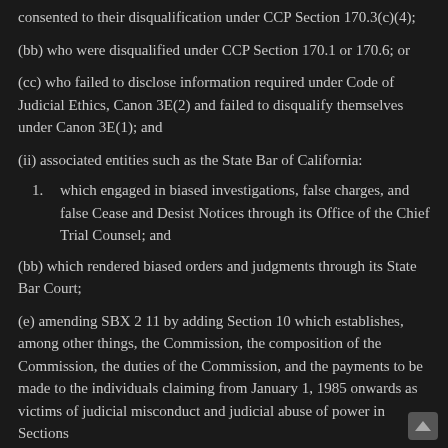consented to their disqualification under CCP Section 170.3(c)(4);
(bb) who were disqualified under CCP Section 170.1 or 170.6; or
(cc) who failed to disclose information required under Code of Judicial Ethics, Canon 3E(2) and failed to disqualify themselves under Canon 3E(1); and
(ii) associated entities such as the State Bar of California:
1. which engaged in biased investigations, false charges, and false Cease and Desist Notices through its Office of the Chief Trial Counsel; and
(bb) which rendered biased orders and judgments through its State Bar Court;
(e) amending SBX 2 11 by adding Section 10 which establishes, among other things, the Commission, the composition of the Commission, the duties of the Commission, and the payments to be made to the individuals claiming from January 1, 1985 onwards as victims of judicial misconduct and judicial abuse of power in Sections